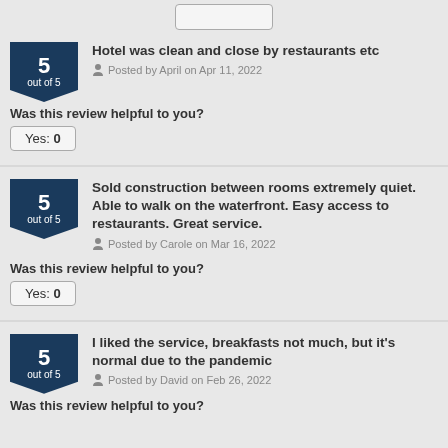Hotel was clean and close by restaurants etc
Posted by April on Apr 11, 2022
Was this review helpful to you?
Yes: 0
Sold construction between rooms extremely quiet. Able to walk on the waterfront. Easy access to restaurants. Great service.
Posted by Carole on Mar 16, 2022
Was this review helpful to you?
Yes: 0
I liked the service, breakfasts not much, but it's normal due to the pandemic
Posted by David on Feb 26, 2022
Was this review helpful to you?